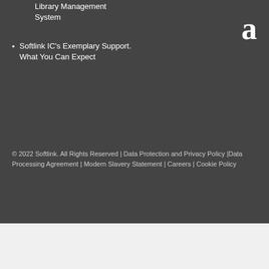Library Management System
[Figure (logo): Large letter 'a' logo in white on dark background]
Softlink IC's Exemplary Support. What You Can Expect
© 2022 Softlink. All Rights Reserved | Data Protection and Privacy Policy |Data Processing Agreement | Modern Slavery Statement | Careers | Cookie Policy